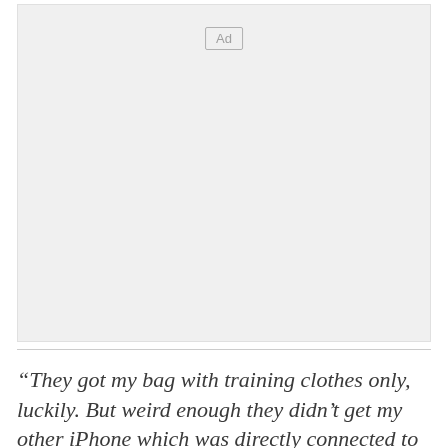[Figure (other): Advertisement placeholder box with 'Ad' label in top center]
“They got my bag with training clothes only, luckily. But weird enough they didn’t get my other iPhone which was directly connected to